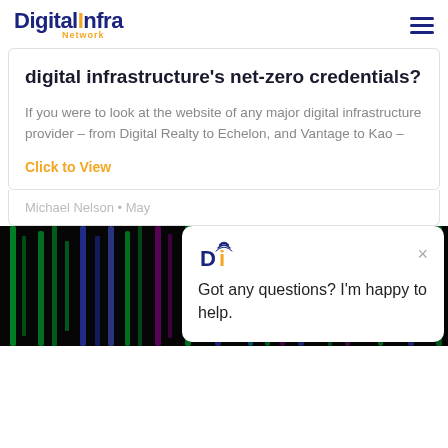Digital Infra Network
digital infrastructure's net-zero credentials?
If you were to look at the website of any major digital infrastructure provider – from Digital Realty to Echelon, and Vantage to Kao –
Click to View
Michael Nelson  •  May
[Figure (photo): Colorful lit server racks in a data center with green, blue, and purple lighting]
Got any questions? I'm happy to help.